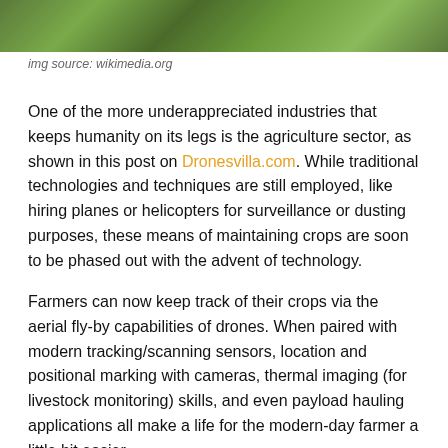[Figure (photo): Green crop field viewed from above, partial image at top of page]
img source: wikimedia.org
One of the more underappreciated industries that keeps humanity on its legs is the agriculture sector, as shown in this post on Dronesvilla.com. While traditional technologies and techniques are still employed, like hiring planes or helicopters for surveillance or dusting purposes, these means of maintaining crops are soon to be phased out with the advent of technology.
Farmers can now keep track of their crops via the aerial fly-by capabilities of drones. When paired with modern tracking/scanning sensors, location and positional marking with cameras, thermal imaging (for livestock monitoring) skills, and even payload hauling applications all make a life for the modern-day farmer a little bit easier.